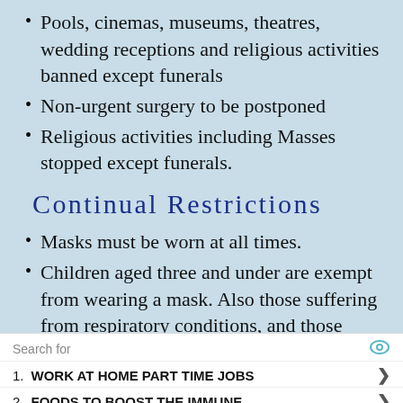Pools, cinemas, museums, theatres, wedding receptions and religious activities banned except funerals
Non-urgent surgery to be postponed
Religious activities including Masses stopped except funerals.
Continual Restrictions
Masks must be worn at all times.
Children aged three and under are exempt from wearing a mask. Also those suffering from respiratory conditions, and those doing
Search for
1. WORK AT HOME PART TIME JOBS
2. FOODS TO BOOST THE IMMUNE